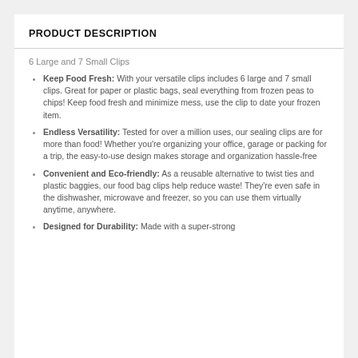PRODUCT DESCRIPTION
6 Large and 7 Small Clips
Keep Food Fresh: With your versatile clips includes 6 large and 7 small clips. Great for paper or plastic bags, seal everything from frozen peas to chips! Keep food fresh and minimize mess, use the clip to date your frozen item.
Endless Versatility: Tested for over a million uses, our sealing clips are for more than food! Whether you're organizing your office, garage or packing for a trip, the easy-to-use design makes storage and organization hassle-free
Convenient and Eco-friendly: As a reusable alternative to twist ties and plastic baggies, our food bag clips help reduce waste! They're even safe in the dishwasher, microwave and freezer, so you can use them virtually anytime, anywhere.
Designed for Durability: Made with a super-strong